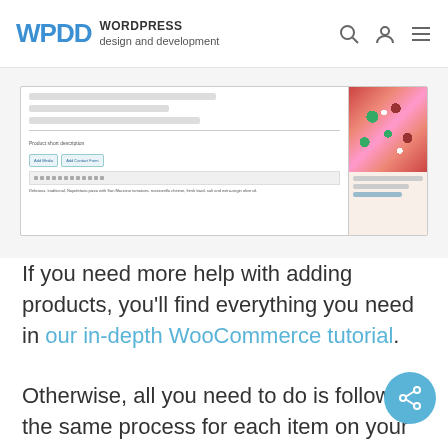WPDD WORDPRESS design and development
[Figure (screenshot): WordPress WooCommerce product editor screenshot showing product short description field with text editor toolbar and a pizza product image on the right]
If you need more help with adding products, you'll find everything you need in our in-depth WooCommerce tutorial.
Otherwise, all you need to do is follow the same process for each item on your menu, and when you're done, you should have pages that look like the one below: